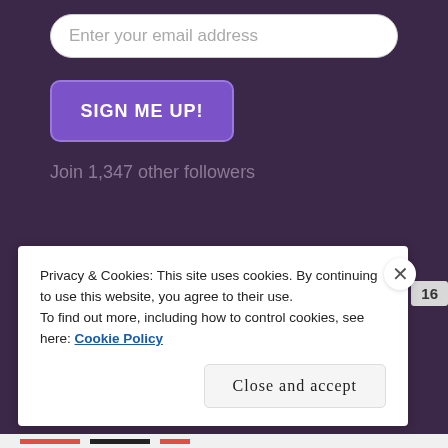Enter your email address
SIGN ME UP!
Join 1,347 other followers
[Figure (other): WordPress follow button: Follow Karen Creamer Author, Coach, Speaker with count badge showing 16]
Privacy & Cookies: This site uses cookies. By continuing to use this website, you agree to their use.
To find out more, including how to control cookies, see here: Cookie Policy
Close and accept